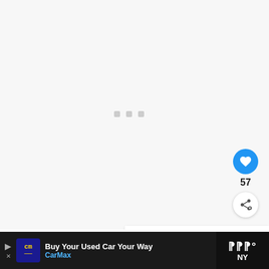[Figure (screenshot): Loading screen / content placeholder with three small gray square dots centered in a light gray area]
[Figure (screenshot): Blue circular like/heart button with count 57 and a white circular share button below it]
[Figure (screenshot): What's Next banner showing thumbnail of building with greenery and text '26 Best Restaurants ...']
12. Fausto
[Figure (screenshot): CarMax advertisement bar: 'Buy Your Used Car Your Way CarMax' with logo and navigation icon, on dark background]